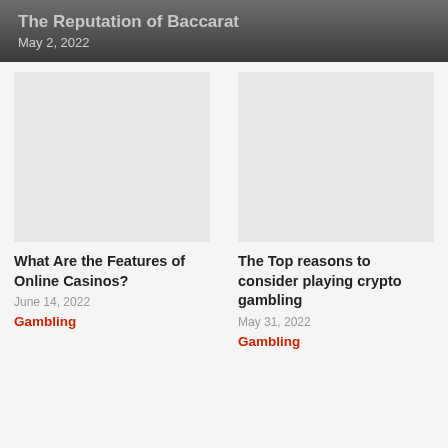The Reputation of Baccarat
May 2, 2022
[Figure (photo): Placeholder image for What Are the Features of Online Casinos article]
What Are the Features of Online Casinos?
June 14, 2022
Gambling
[Figure (photo): Placeholder image for The Top reasons to consider playing crypto gambling article]
The Top reasons to consider playing crypto gambling
May 31, 2022
Gambling